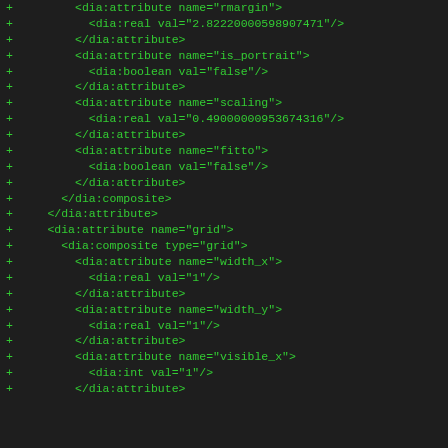+ <dia:attribute name="rmargin">
+   <dia:real val="2.82220000598907471"/>
+         </dia:attribute>
+         <dia:attribute name="is_portrait">
+           <dia:boolean val="false"/>
+         </dia:attribute>
+         <dia:attribute name="scaling">
+           <dia:real val="0.49000000953674316"/>
+         </dia:attribute>
+         <dia:attribute name="fitto">
+           <dia:boolean val="false"/>
+         </dia:attribute>
+       </dia:composite>
+     </dia:attribute>
+     <dia:attribute name="grid">
+       <dia:composite type="grid">
+         <dia:attribute name="width_x">
+           <dia:real val="1"/>
+         </dia:attribute>
+         <dia:attribute name="width_y">
+           <dia:real val="1"/>
+         </dia:attribute>
+         <dia:attribute name="visible_x">
+           <dia:int val="1"/>
+         </dia:attribute>